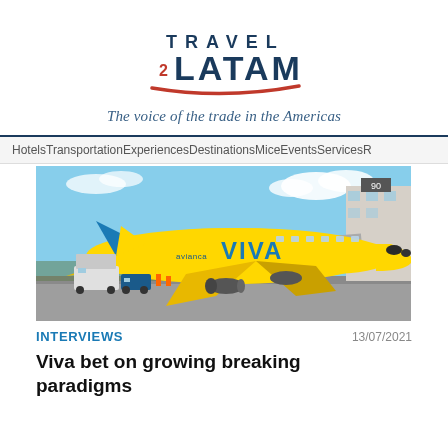[Figure (logo): Travel 2 LATAM logo with red swoosh underline and tagline in blue serif italic]
The voice of the trade in the Americas
HotelsTransportationExperiencesDestinationsMiceEventsServicesR
[Figure (photo): Yellow Viva Air plane at airport gate on sunny day]
INTERVIEWS
13/07/2021
Viva bet on growing breaking paradigms